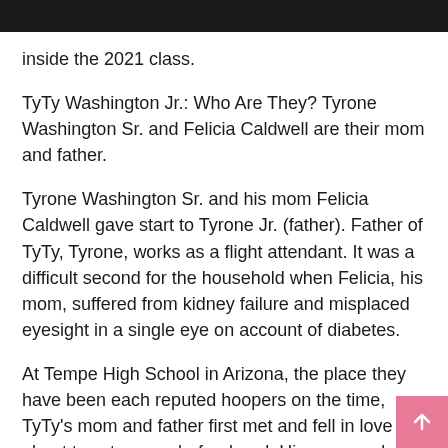inside the 2021 class.
TyTy Washington Jr.: Who Are They? Tyrone Washington Sr. and Felicia Caldwell are their mom and father.
Tyrone Washington Sr. and his mom Felicia Caldwell gave start to Tyrone Jr. (father). Father of TyTy, Tyrone, works as a flight attendant. It was a difficult second for the household when Felicia, his mom, suffered from kidney failure and misplaced eyesight in a single eye on account of diabetes.
At Tempe High School in Arizona, the place they have been each reputed hoopers on the time, TyTy’s mom and father first met and fell in love about twenty years beforehand. His mom and father taught him poise and grit. Together, they